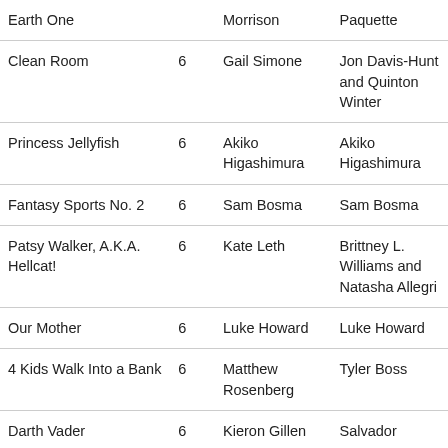| Earth One |  | Morrison | Paquette |
| Clean Room | 6 | Gail Simone | Jon Davis-Hunt and Quinton Winter |
| Princess Jellyfish | 6 | Akiko Higashimura | Akiko Higashimura |
| Fantasy Sports No. 2 | 6 | Sam Bosma | Sam Bosma |
| Patsy Walker, A.K.A. Hellcat! | 6 | Kate Leth | Brittney L. Williams and Natasha Allegri |
| Our Mother | 6 | Luke Howard | Luke Howard |
| 4 Kids Walk Into a Bank | 6 | Matthew Rosenberg | Tyler Boss |
| Darth Vader | 6 | Kieron Gillen | Salvador |